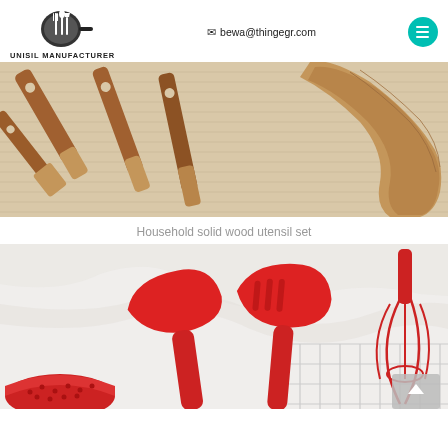UNISIL MANUFACTURER | bewa@thingegr.com
[Figure (photo): Overhead view of wooden kitchen utensils (spatulas and spoon) arranged on a beige linen cloth background]
Household solid wood utensil set
[Figure (photo): Red silicone kitchen utensil set on white marble background, including spatulas, slotted turner, and whisk]